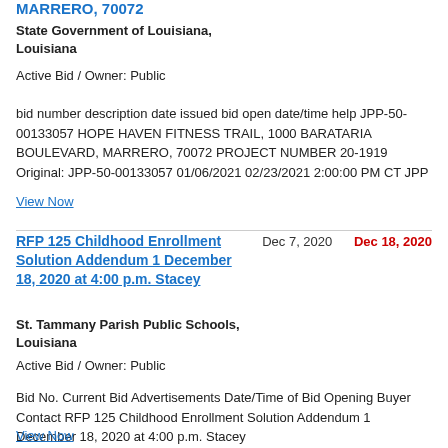MARRERO, 70072
State Government of Louisiana, Louisiana
Active Bid / Owner: Public
bid number description date issued bid open date/time help JPP-50-00133057 HOPE HAVEN FITNESS TRAIL, 1000 BARATARIA BOULEVARD, MARRERO, 70072 PROJECT NUMBER 20-1919 Original: JPP-50-00133057 01/06/2021 02/23/2021 2:00:00 PM CT JPP
View Now
RFP 125 Childhood Enrollment Solution Addendum 1 December 18, 2020 at 4:00 p.m. Stacey
Dec 7, 2020    Dec 18, 2020
St. Tammany Parish Public Schools, Louisiana
Active Bid / Owner: Public
Bid No. Current Bid Advertisements Date/Time of Bid Opening Buyer Contact RFP 125 Childhood Enrollment Solution Addendum 1 December 18, 2020 at 4:00 p.m. Stacey
View Now